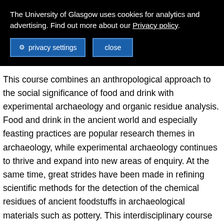The University of Glasgow uses cookies for analytics and advertising. Find out more about our Privacy policy.
privacy settings   close
This course combines an anthropological approach to the social significance of food and drink with experimental archaeology and organic residue analysis. Food and drink in the ancient world and especially feasting practices are popular research themes in archaeology, while experimental archaeology continues to thrive and expand into new areas of enquiry. At the same time, great strides have been made in refining scientific methods for the detection of the chemical residues of ancient foodstuffs in archaeological materials such as pottery. This interdisciplinary course offers students the unique opportunity to engage with, and